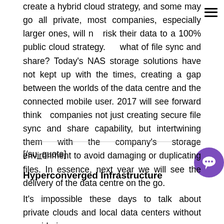create a hybrid cloud strategy, and some may go all private, most companies, especially larger ones, will not risk their data to a 100% public cloud strategy. But what of file sync and share? Today's NAS storage solutions have not kept up with the times, creating a gap between the worlds of the data centre and the connected mobile user. 2017 will see forward thinking companies not just creating secure file sync and share capability, but intertwining them with the company's storage environment to avoid damaging or duplicating files. In essence, next year we will see the delivery of the data centre on the go.
[/su_quote]
Hyperconverged Infrastructure
It's impossible these days to talk about private clouds and local data centers without considering